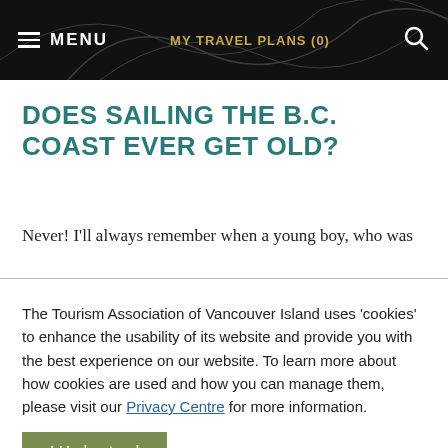MENU   MY TRAVEL PLANS (0)   [search icon]
DOES SAILING THE B.C. COAST EVER GET OLD?
Never! I'll always remember when a young boy, who was
The Tourism Association of Vancouver Island uses 'cookies' to enhance the usability of its website and provide you with the best experience on our website. To learn more about how cookies are used and how you can manage them, please visit our Privacy Centre for more information.
I Understand